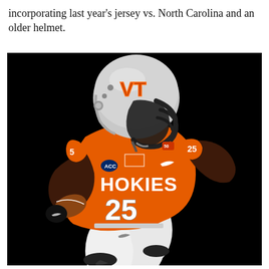incorporating last year's jersey vs. North Carolina and an older helmet.
[Figure (illustration): Illustration of a Virginia Tech Hokies football player wearing number 25, an orange jersey with 'HOKIES' text and VT logo, white pants, and a silver helmet with VT logo and black face mask. The player is running with a football against a black background.]